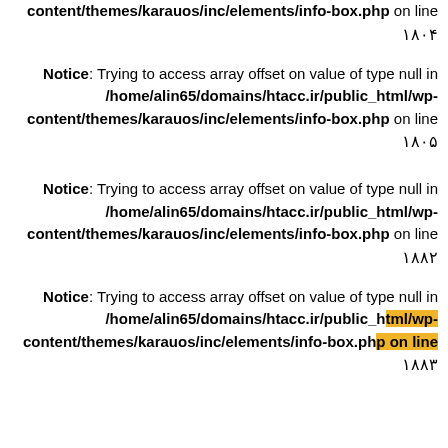content/themes/karauos/inc/elements/info-box.php on line ۱۸۰۴
Notice: Trying to access array offset on value of type null in /home/alin65/domains/htacc.ir/public_html/wp-content/themes/karauos/inc/elements/info-box.php on line ۱۸۰۵
Notice: Trying to access array offset on value of type null in /home/alin65/domains/htacc.ir/public_html/wp-content/themes/karauos/inc/elements/info-box.php on line ۱۸۸۲
Notice: Trying to access array offset on value of type null in /home/alin65/domains/htacc.ir/public_html/wp-content/themes/karauos/inc/elements/info-box.php on line ۱۸۸۳